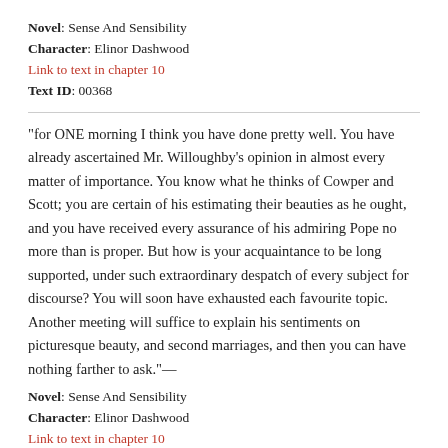Novel: Sense And Sensibility
Character: Elinor Dashwood
Link to text in chapter 10
Text ID: 00368
"for ONE morning I think you have done pretty well. You have already ascertained Mr. Willoughby's opinion in almost every matter of importance. You know what he thinks of Cowper and Scott; you are certain of his estimating their beauties as he ought, and you have received every assurance of his admiring Pope no more than is proper. But how is your acquaintance to be long supported, under such extraordinary despatch of every subject for discourse? You will soon have exhausted each favourite topic. Another meeting will suffice to explain his sentiments on picturesque beauty, and second marriages, and then you can have nothing farther to ask."—
Novel: Sense And Sensibility
Character: Elinor Dashwood
Link to text in chapter 10
Text ID: 00370